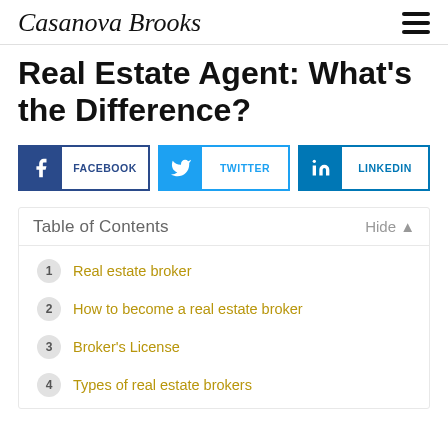Casanova Brooks
Real Estate Agent: What's the Difference?
[Figure (infographic): Social share buttons: Facebook, Twitter, LinkedIn]
Table of Contents
1. Real estate broker
2. How to become a real estate broker
3. Broker's License
4. Types of real estate brokers